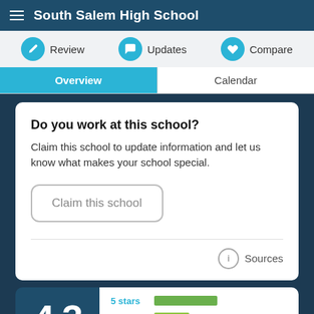South Salem High School
Review | Updates | Compare
Overview | Calendar
Do you work at this school?
Claim this school to update information and let us know what makes your school special.
Claim this school
Sources
4 3
5 stars
4 stars